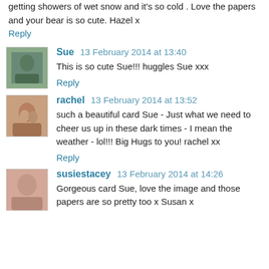getting showers of wet snow and it's so cold . Love the papers and your bear is so cute. Hazel x
Reply
Sue  13 February 2014 at 13:40
This is so cute Sue!!! huggles Sue xxx
Reply
rachel  13 February 2014 at 13:52
such a beautiful card Sue - Just what we need to cheer us up in these dark times - I mean the weather - lol!!! Big Hugs to you! rachel xx
Reply
susiestacey  13 February 2014 at 14:26
Gorgeous card Sue, love the image and those papers are so pretty too x Susan x